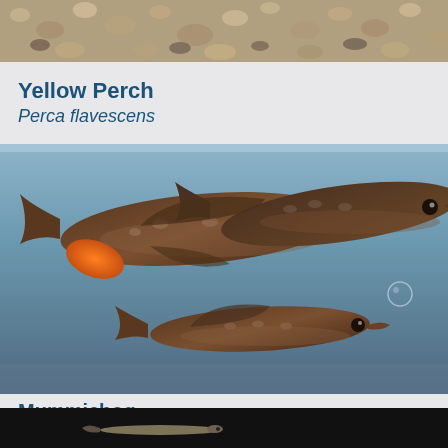[Figure (photo): Close-up photo of gravel/pebble substrate, top strip image possibly of Yellow Perch habitat]
Yellow Perch
Perca flavescens
[Figure (photo): Three Mummichog fish (Fundulus heteroclitus) swimming in an aquarium, brownish-dark coloration with orange-tinged fins visible on the left fish]
Mummichog
Fundulus heteroclitus
[Figure (photo): Bottom strip showing a small elongated fish/larva specimen on dark background]